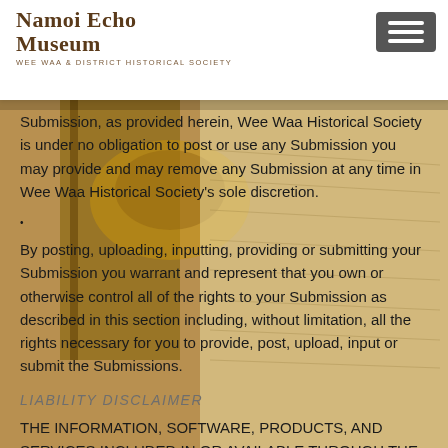Namoi Echo Museum
Wee Waa & District Historical Society
Submission, as provided herein, Wee Waa Historical Society is under no obligation to post or use any Submission you may provide and may remove any Submission at any time in Wee Waa Historical Society's sole discretion.
By posting, uploading, inputting, providing or submitting your Submission you warrant and represent that you own or otherwise control all of the rights to your Submission as described in this section including, without limitation, all the rights necessary for you to provide, post, upload, input or submit the Submissions.
LIABILITY DISCLAIMER
THE INFORMATION, SOFTWARE, PRODUCTS, AND SERVICES INCLUDED IN OR AVAILABLE THROUGH THE Wee Waa Historical Society WEB SITE MAY INCLUDE INACCURACIES OR TYPOGRAPHICAL ERRORS. CHANGES ARE PERIODICALLY ADDED TO THE